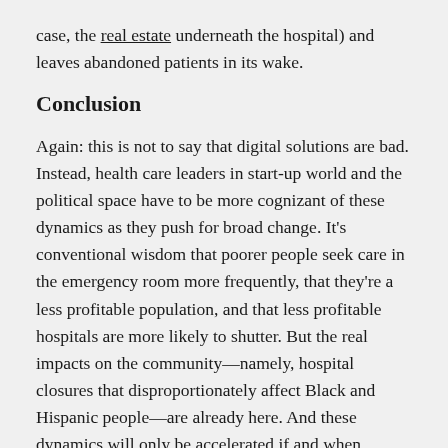case, the real estate underneath the hospital) and leaves abandoned patients in its wake.
Conclusion
Again: this is not to say that digital solutions are bad. Instead, health care leaders in start-up world and the political space have to be more cognizant of these dynamics as they push for broad change. It’s conventional wisdom that poorer people seek care in the emergency room more frequently, that they’re a less profitable population, and that less profitable hospitals are more likely to shutter. But the real impacts on the community—namely, hospital closures that disproportionately affect Black and Hispanic people—are already here. And these dynamics will only be accelerated if and when wealthier people begin to pull